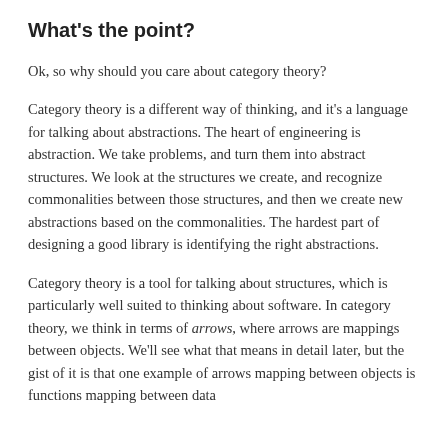What's the point?
Ok, so why should you care about category theory?
Category theory is a different way of thinking, and it's a language for talking about abstractions. The heart of engineering is abstraction. We take problems, and turn them into abstract structures. We look at the structures we create, and recognize commonalities between those structures, and then we create new abstractions based on the commonalities. The hardest part of designing a good library is identifying the right abstractions.
Category theory is a tool for talking about structures, which is particularly well suited to thinking about software. In category theory, we think in terms of arrows, where arrows are mappings between objects. We'll see what that means in detail later, but the gist of it is that one example of arrows mapping between objects is functions mapping between data